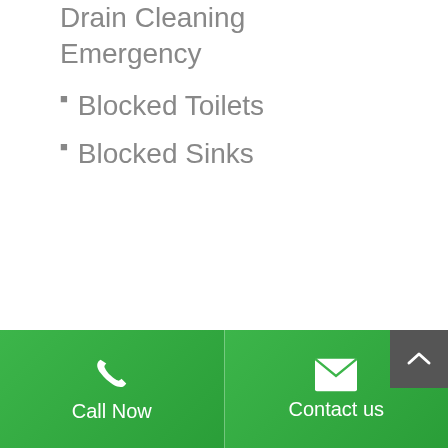Drain Cleaning Emergency
Blocked Toilets
Blocked Sinks
Call Now | Contact us